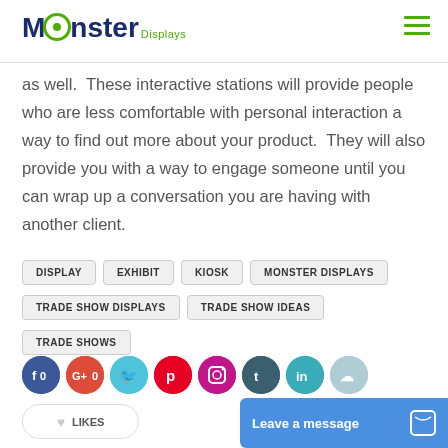Monster Displays
as well.  These interactive stations will provide people who are less comfortable with personal interaction a way to find out more about your product.  They will also provide you with a way to engage someone until you can wrap up a conversation you are having with another client.
DISPLAY
EXHIBIT
KIOSK
MONSTER DISPLAYS
TRADE SHOW DISPLAYS
TRADE SHOW IDEAS
TRADE SHOWS